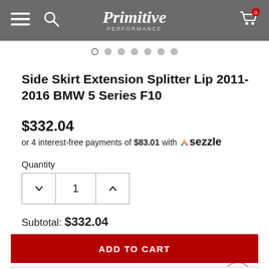Primitive Performance
[Figure (screenshot): Image carousel dot indicators — 7 dots, first one is an open circle (active), rest filled grey]
Side Skirt Extension Splitter Lip 2011-2016 BMW 5 Series F10
$332.04
or 4 interest-free payments of $83.01 with Sezzle
Quantity
1
Subtotal: $332.04
ADD TO CART
ADD TO WISH LIST